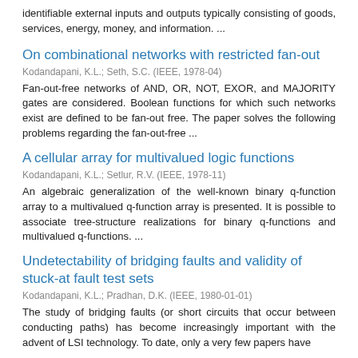identifiable external inputs and outputs typically consisting of goods, services, energy, money, and information. ...
On combinational networks with restricted fan-out
Kodandapani, K.L.; Seth, S.C. (IEEE, 1978-04)
Fan-out-free networks of AND, OR, NOT, EXOR, and MAJORITY gates are considered. Boolean functions for which such networks exist are defined to be fan-out free. The paper solves the following problems regarding the fan-out-free ...
A cellular array for multivalued logic functions
Kodandapani, K.L.; Setlur, R.V. (IEEE, 1978-11)
An algebraic generalization of the well-known binary q-function array to a multivalued q-function array is presented. It is possible to associate tree-structure realizations for binary q-functions and multivalued q-functions. ...
Undetectability of bridging faults and validity of stuck-at fault test sets
Kodandapani, K.L.; Pradhan, D.K. (IEEE, 1980-01-01)
The study of bridging faults (or short circuits that occur between conducting paths) has become increasingly important with the advent of LSI technology. To date, only a very few papers have